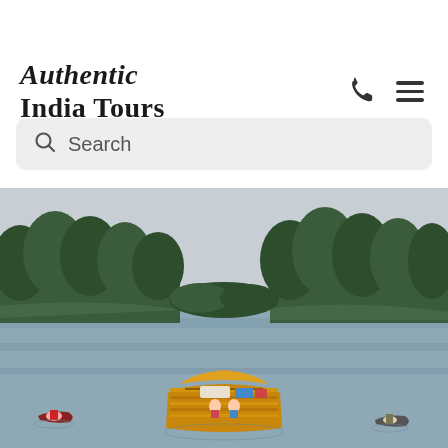Authentic India Tours
Search
[Figure (photo): Aerial view of a wooden houseboat navigating a calm backwater river in Kerala, India, surrounded by lush green palm trees on both banks. Several small canoes with people are visible alongside the large wooden boat.]